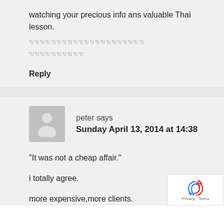watching your precious info ans valuable Thai lesson.
ขขขขขขขขขขขขขขขขขขขขข
ขขขขขขขขขข
Reply
peter says
Sunday April 13, 2014 at 14:38
"It was not a cheap affair."
i totally agree.
more expensive,more clients.